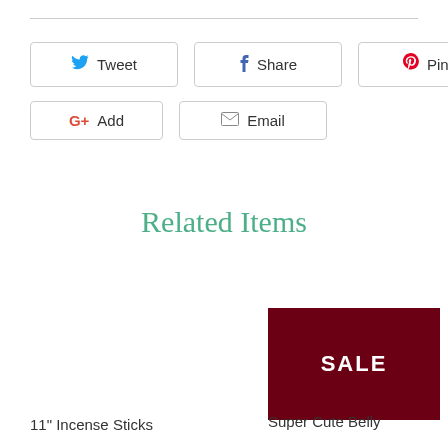Tweet
Share
Pin It
G+ Add
Email
Related Items
[Figure (other): Dark red SALE badge/button]
11" Incense Sticks
Super Cute Belly